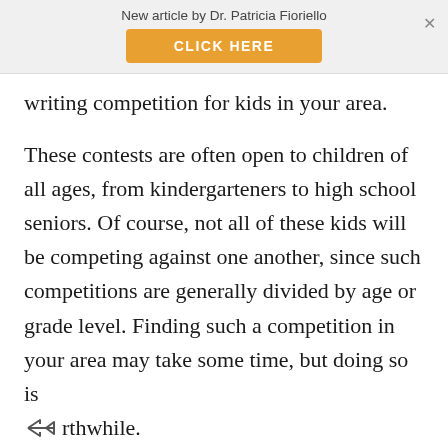New article by Dr. Patricia Fioriello
CLICK HERE
writing competition for kids in your area.
These contests are often open to children of all ages, from kindergarteners to high school seniors. Of course, not all of these kids will be competing against one another, since such competitions are generally divided by age or grade level. Finding such a competition in your area may take some time, but doing so is worthwhile.